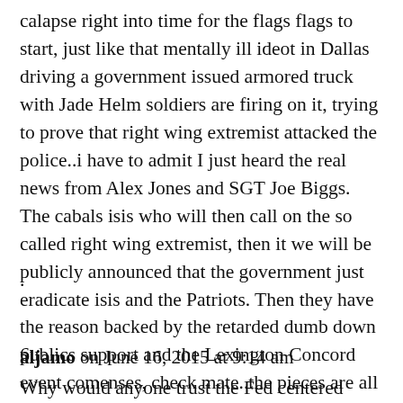calapse right into time for the flags flags to start, just like that mentally ill ideot in Dallas driving a government issued armored truck with Jade Helm soldiers are firing on it, trying to prove that right wing extremist attacked the police..i have to admit I just heard the real news from Alex Jones and SGT Joe Biggs. The cabals isis who will then call on the so called right wing extremist, then it we will be publicly announced that the government just eradicate isis and the Patriots. Then they have the reason backed by the retarded dumb down publics support and the Lexington Concord event comenses, check mate..the pieces are all falling into place.
.
6.
aljamo on June 16, 2015 at 9:14 am
Why would anyone trust the Fed centered New York banks? This Rothschild creation has robbed, murdered and plundered humanity since the creation of the U.S.